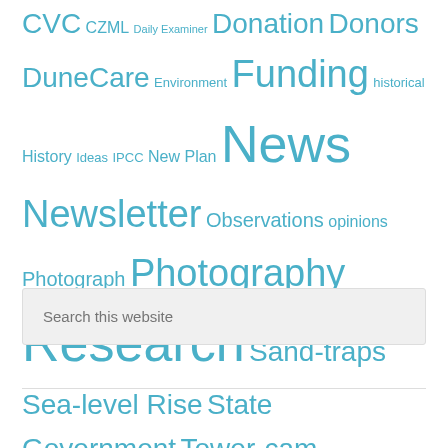CVC CZML Daily Examiner Donation Donors DuneCare Environment Funding historical History Ideas IPCC New Plan News Newsletter Observations opinions Photograph Photography Research Sand-traps Sea-level Rise State Government Tower-cam Underwater topography Village WAG Water tower Waves
Search this website